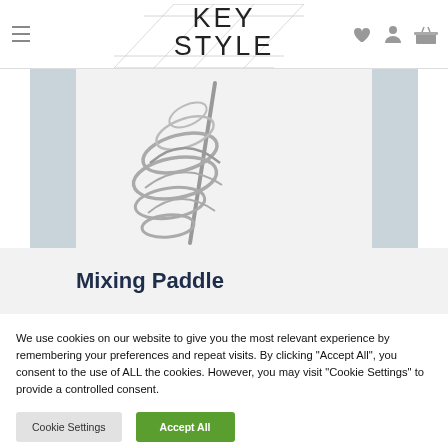KEY STYLE
[Figure (photo): Mixing paddle attachment — a spiral wire dough hook/mixing attachment for a hand mixer, metallic silver color, photographed against a light grey background with side accent columns in muted blue-grey.]
Mixing Paddle
We use cookies on our website to give you the most relevant experience by remembering your preferences and repeat visits. By clicking "Accept All", you consent to the use of ALL the cookies. However, you may visit "Cookie Settings" to provide a controlled consent.
Cookie Settings | Accept All